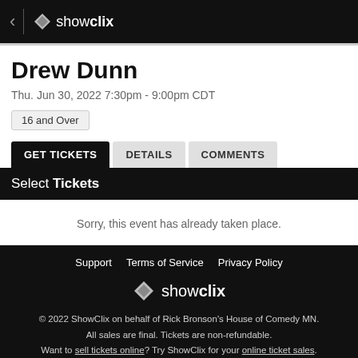showclix
Drew Dunn
Thu. Jun 30, 2022 7:30pm - 9:00pm CDT
16 and Over
GET TICKETS   DETAILS   COMMENTS
Select Tickets
Sorry, this event has already taken place.
Support   Terms of Service   Privacy Policy
© 2022 ShowClix on behalf of Rick Bronson's House of Comedy MN.
All sales are final. Tickets are non-refundable.
Want to sell tickets online? Try ShowClix for your online ticket sales.